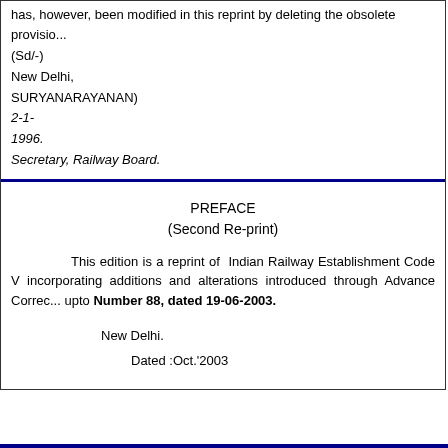has, however, been modified in this reprint by deleting the obsolete provisions
(Sd/-)
New Delhi,
SURYANARAYANAN)
2-1-
1996.
Secretary, Railway Board.
PREFACE
(Second Re-print)
This edition is a reprint of Indian Railway Establishment Code V incorporating additions and alterations introduced through Advance Correction Slips upto Number 88, dated 19-06-2003.
New Delhi.
Dated :Oct.'2003